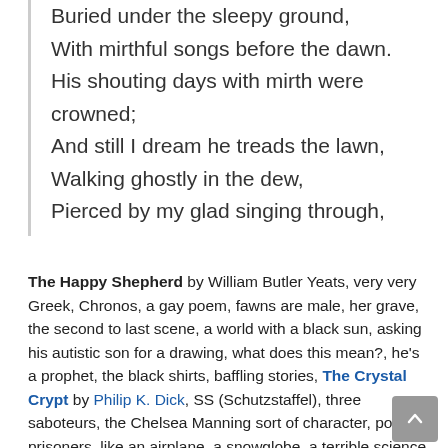Buried under the sleepy ground,
With mirthful songs before the dawn.
His shouting days with mirth were crowned;
And still I dream he treads the lawn,
Walking ghostly in the dew,
Pierced by my glad singing through,
The Happy Shepherd by William Butler Yeats, very very Greek, Chronos, a gay poem, fawns are male, her grave, the second to last scene, a world with a black sun, asking his autistic son for a drawing, what does this mean?, he's a prophet, the black shirts, baffling stories, The Crystal Crypt by Philip K. Dick, SS (Schutzstaffel), three saboteurs, the Chelsea Manning sort of character, political prisoners, like an airplane, a snowglobe, a terrible science fiction story, a reducing ray, Dick cannot get the idea of the SS out of his mind, a powerful